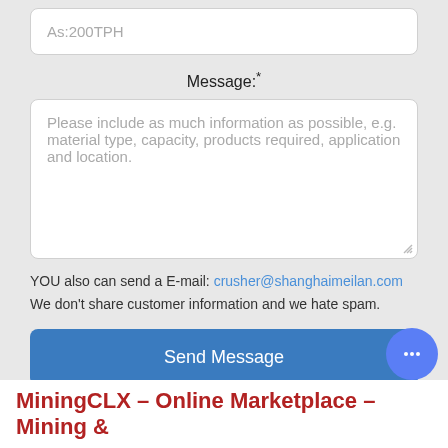As:200TPH
Message:*
Please include as much information as possible, e.g. material type, capacity, products required, application and location.
YOU also can send a E-mail: crusher@shanghaimeilan.com
We don't share customer information and we hate spam.
Send Message
MiningCLX – Online Marketplace – Mining &